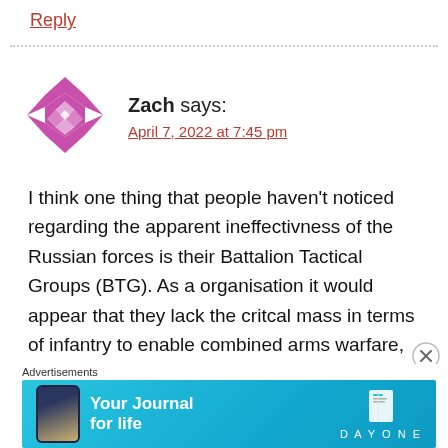Reply
Zach says:
April 7, 2022 at 7:45 pm
I think one thing that people haven't noticed regarding the apparent ineffectivness of the Russian forces is their Battalion Tactical Groups (BTG). As a organisation it would appear that they lack the critcal mass in terms of infantry to enable combined arms warfare,
Advertisements
[Figure (other): Day One app advertisement banner with blue background showing 'Your Journal for life' text and a book icon with DAYONE branding]